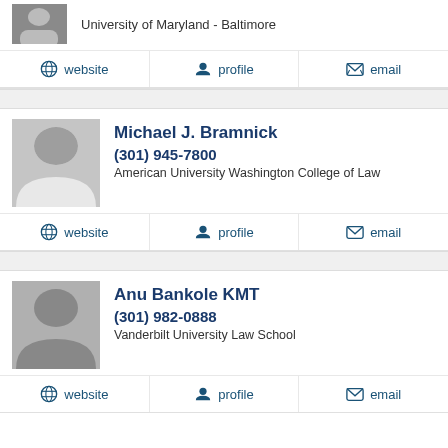University of Maryland - Baltimore
website | profile | email
Michael J. Bramnick
(301) 945-7800
American University Washington College of Law
website | profile | email
Anu Bankole KMT
(301) 982-0888
Vanderbilt University Law School
website | profile | email